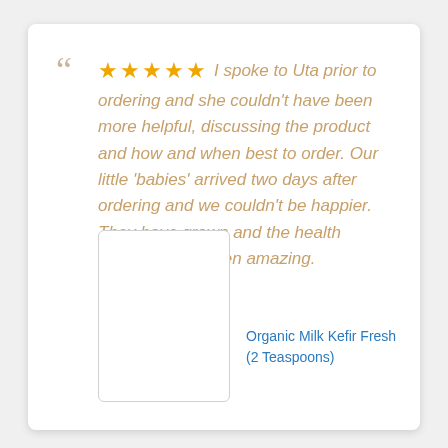I spoke to Uta prior to ordering and she couldn't have been more helpful, discussing the product and how and when best to order. Our little 'babies' arrived two days after ordering and we couldn't be happier. They have grown and the health benefits have been amazing.
[Figure (other): Product image placeholder box with border and rounded corners]
Organic Milk Kefir Fresh (2 Teaspoons)